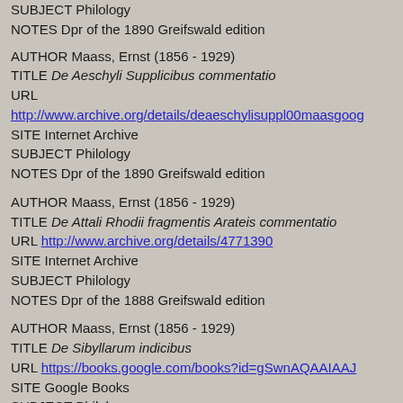SUBJECT Philology
NOTES Dpr of the 1890 Greifswald edition
AUTHOR Maass, Ernst (1856 - 1929)
TITLE De Aeschyli Supplicibus commentatio
URL http://www.archive.org/details/deaeschylisuppl00maasgoog
SITE Internet Archive
SUBJECT Philology
NOTES Dpr of the 1890 Greifswald edition
AUTHOR Maass, Ernst (1856 - 1929)
TITLE De Attali Rhodii fragmentis Arateis commentatio
URL http://www.archive.org/details/4771390
SITE Internet Archive
SUBJECT Philology
NOTES Dpr of the 1888 Greifswald edition
AUTHOR Maass, Ernst (1856 - 1929)
TITLE De Sibyllarum indicibus
URL https://books.google.com/books?id=gSwnAQAAIAAJ
SITE Google Books
SUBJECT Philology
NOTES Dpr of the 1879 Greifswald edition
AUTHOR Maass, Ernst (1856 - 1929)